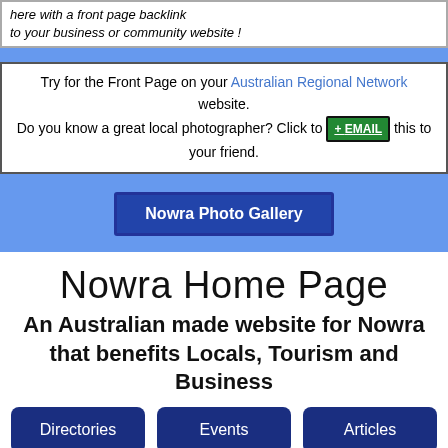here with a front page backlink to your business or community website !
Try for the Front Page on your Australian Regional Network website. Do you know a great local photographer? Click to +EMAIL this to your friend.
[Figure (screenshot): Nowra Photo Gallery button]
Nowra Home Page
An Australian made website for Nowra that benefits Locals, Tourism and Business
Directories | Events | Articles | Visitor Information